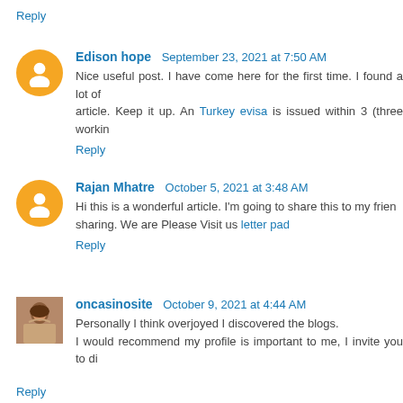Reply
Edison hope  September 23, 2021 at 7:50 AM
Nice useful post. I have come here for the first time. I found a lot of interesting stuff in your article. Keep it up. An Turkey evisa is issued within 3 (three working days…
Reply
Rajan Mhatre  October 5, 2021 at 3:48 AM
Hi this is a wonderful article. I'm going to share this to my friends, thanks for sharing. We are Please Visit us letter pad
Reply
oncasinosite  October 9, 2021 at 4:44 AM
Personally I think overjoyed I discovered the blogs.
I would recommend my profile is important to me, I invite you to di…
Reply